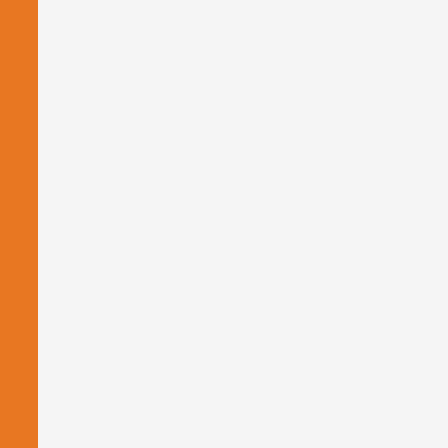| No. | Date | Title |
| --- | --- | --- |
| 904. |  | 01/2015)-20... |
| 905. | 01/05/2015 | Grant of spe... Law/MBA(O... courses exa... |
| 906. | 10/02/2015 | Schedule of ... |
| 907. | 22/01/2015 | Acceptance ... the conduct ... |
| 908. | 13/01/2015 | Schedule for... |
| 909. | 12/12/2014 | Examination... |
| 910. | 05/11/2014 | Last Date fo... |
| 911. | 13/09/2014 | Revised Dat... B.A/B.Sc(Ge... Technology) |
| 912. | 26/08/2014 | Schedule fo... the Annual S... |
| 913. | 25/08/2014 | Questions B... |
| 914. | 19/08/2014 | Questions B... |
| 915. | 13/08/2014 | Answers Key... |
| 916. | 13/08/2014 | Questions B... |
| 917. | 13/08/2014 | Questions B... |